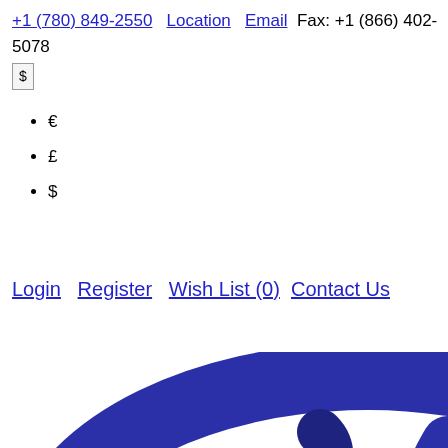+1 (780) 849-2550  Location  Email  Fax: +1 (866) 402-5078
€
£
$
Login  Register  Wish List (0)  Contact Us
[Figure (logo): Partial logo showing dark navy blue sweeping arc and teal/cyan circular element on white background]